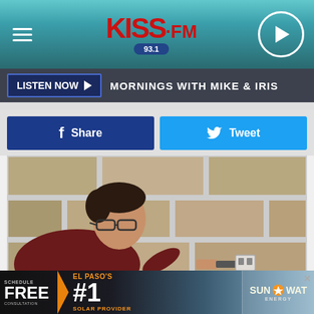KISS FM 93.1
LISTEN NOW ▶  MORNINGS WITH MIKE & IRIS
Share
Tweet
[Figure (photo): A man wearing glasses and a dark red shirt closely examines a concrete block wall, holding a tool near the surface, appearing to inspect or repair the mortar joints.]
SCHEDULE FREE CONSULTATION  EL PASO'S #1 SOLAR PROVIDER  SUN WAT ENERGY